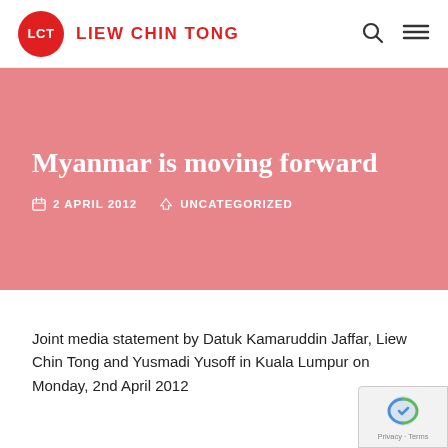LCT LIEW CHIN TONG
Myanmar is moving forward
2 APRIL 2012  UNCATEGORIZED
Joint media statement by Datuk Kamaruddin Jaffar, Liew Chin Tong and Yusmadi Yusoff in Kuala Lumpur on Monday, 2nd April 2012